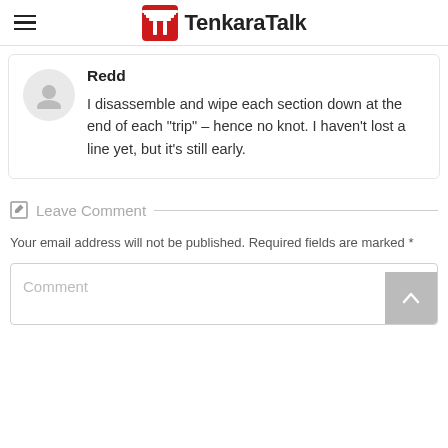TenkaraTalk
Redd
I disassemble and wipe each section down at the end of each "trip" – hence no knot. I haven't lost a line yet, but it's still early.
Leave Comment
Your email address will not be published. Required fields are marked *
Comment